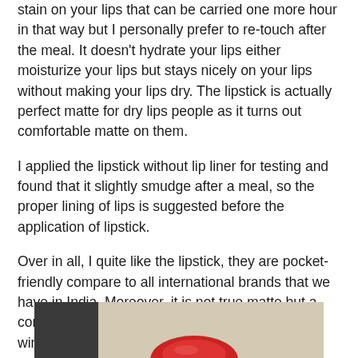stain on your lips that can be carried one more hour in that way but I personally prefer to re-touch after the meal. It doesn't hydrate your lips either moisturize your lips but stays nicely on your lips without making your lips dry. The lipstick is actually perfect matte for dry lips people as it turns out comfortable matte on them.
I applied the lipstick without lip liner for testing and found that it slightly smudge after a meal, so the proper lining of lips is suggested before the application of lipstick.
Over in all, I quite like the lipstick, they are pocket-friendly compare to all international brands that we have in India. Moreover, it is not true matte but a comfort matte lipstick that I can happily wear in winter too.
[Figure (photo): Partial photo showing a lipstick product with a red lip visible at the bottom, beige/tan background]